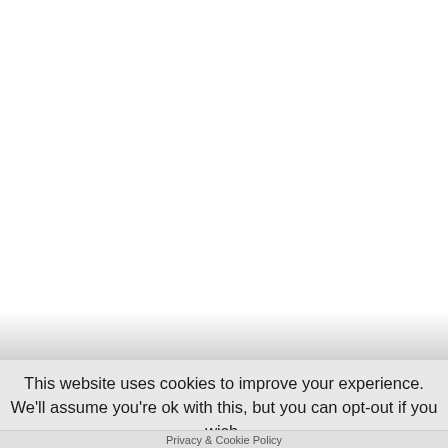This website uses cookies to improve your experience. We'll assume you're ok with this, but you can opt-out if you wish.
Accept   Reject   Read More